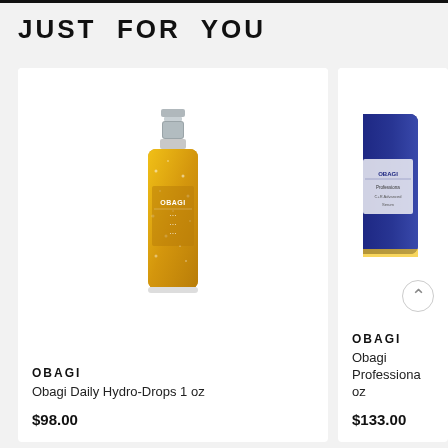JUST FOR YOU
[Figure (photo): Obagi Daily Hydro-Drops 1 oz product bottle with gold/yellow liquid interior and silver pump cap]
OBAGI
Obagi Daily Hydro-Drops 1 oz
$98.00
[Figure (photo): Partial view of Obagi Professional product with dark navy blue packaging, partially cut off on right side]
OBAGI
Obagi Professiona oz
$133.00